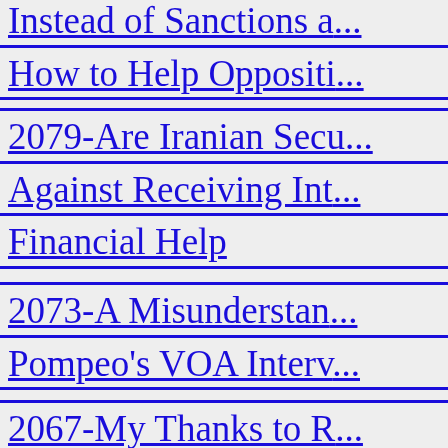Instead of Sanctions a... How to Help Oppositi...
2079-Are Iranian Secu... Against Receiving Int... Financial Help
2073-A Misunderstan... Pompeo's VOA Interv...
2067-My Thanks to R...